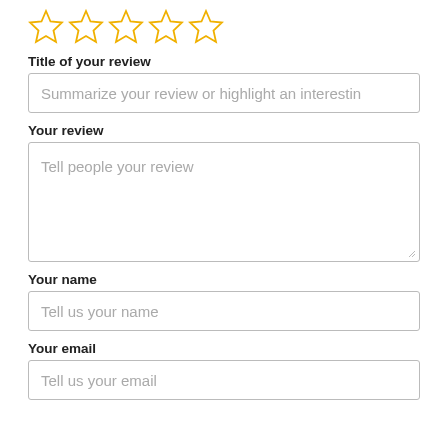[Figure (other): Five outline star icons in gold/yellow for rating]
Title of your review
Summarize your review or highlight an interestin
Your review
Tell people your review
Your name
Tell us your name
Your email
Tell us your email